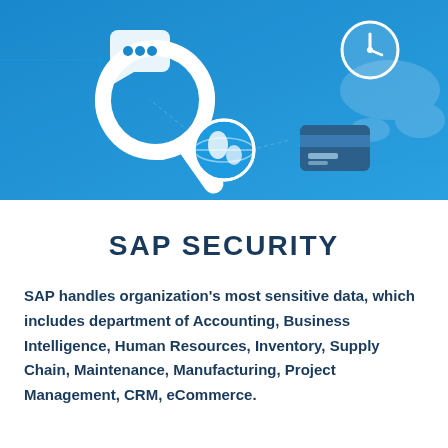[Figure (illustration): Blue technology/security themed banner with white icons: magnifying glass, chat bubble with ellipsis, globe, credit card, clock, circuit board pattern, and world map silhouette on a blue gradient background]
SAP SECURITY
SAP handles organization's most sensitive data, which includes department of Accounting, Business Intelligence, Human Resources, Inventory, Supply Chain, Maintenance, Manufacturing, Project Management, CRM, eCommerce.